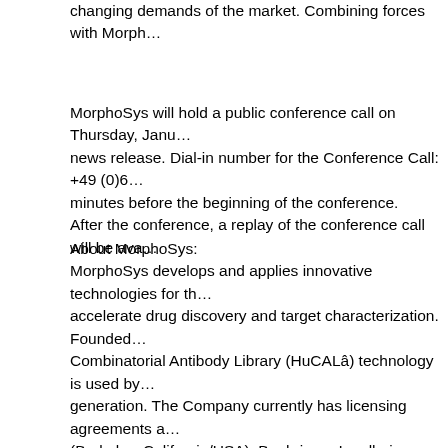changing demands of the market. Combining forces with Morph…
MorphoSys will hold a public conference call on Thursday, Janu… news release. Dial-in number for the Conference Call: +49 (0)6… minutes before the beginning of the conference. After the conference, a replay of the conference call will be ava…
About MorphoSys: MorphoSys develops and applies innovative technologies for th… accelerate drug discovery and target characterization. Founded… Combinatorial Antibody Library (HuCALâ) technology is used by… generation. The Company currently has licensing agreements a… (Berkeley, California/USA), Boehringer Ingelheim (Ingelheim, G… Jersey/USA), Centocor Inc. (Malvern, Pennsylvania/USA), GPC… La Roche AG (Basel/Switzerland), ImmunoGen Inc. (Cambridge… (New Jersey/USA), Novartis AG (Basel, Switzerland), Novopla… Inc. (Delaware/USA), ProChon Biotech Ltd. (Rehovot/Israel), S… Co., Ltd. (Osaka/Japan), Xoma Ltd. (Berkeley, California/USA)… active in the antibody research market through its Antibodies by… was founded in 2003 for the purpose of exploiting the MorphoS…